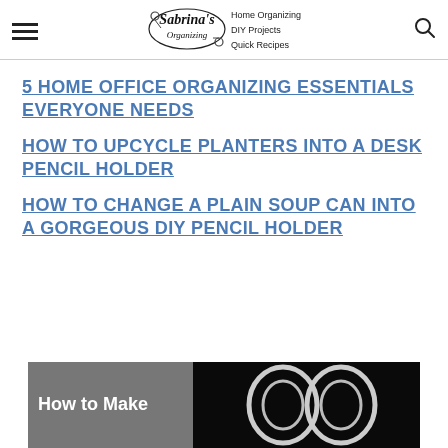Sabrina's Organizing — Home Organizing, DIY Projects, Quick Recipes
5 HOME OFFICE ORGANIZING ESSENTIALS EVERYONE NEEDS
HOW TO UPCYCLE PLANTERS INTO A DESK PENCIL HOLDER
HOW TO CHANGE A PLAIN SOUP CAN INTO A GORGEOUS DIY PENCIL HOLDER
[Figure (photo): Bottom partial image with gray overlay on left reading 'How to Make' and dark/black background with ring shapes on the right]